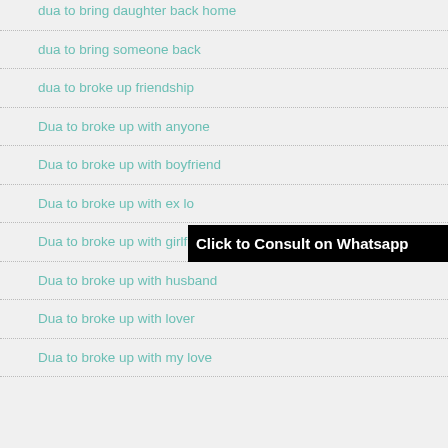dua to bring daughter back home
dua to bring someone back
dua to broke up friendship
Dua to broke up with anyone
Dua to broke up with boyfriend
Dua to broke up with ex lo
Dua to broke up with girlfriend
Dua to broke up with husband
Dua to broke up with lover
Dua to broke up with my love
Click to Consult on Whatsapp